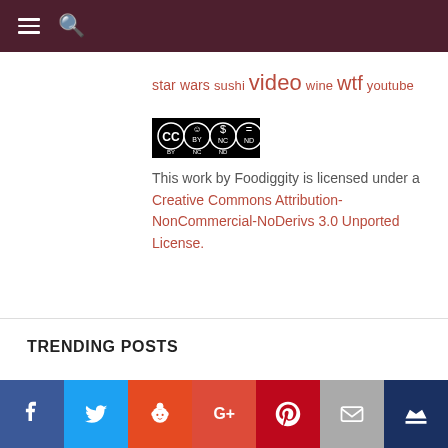Navigation header bar with hamburger menu and search icon
star wars sushi video wine wtf youtube
[Figure (logo): Creative Commons BY-NC-ND license badge]
This work by Foodiggity is licensed under a Creative Commons Attribution-NonCommercial-NoDerivs 3.0 Unported License.
TRENDING POSTS
[Figure (infographic): Social media share bar with Facebook, Twitter, Reddit, Google+, Pinterest, Email, and Crown icons]